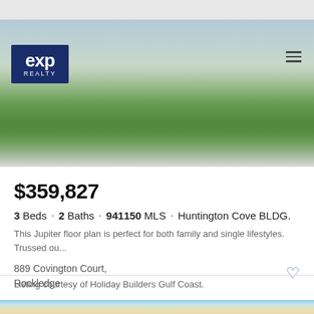[Figure (photo): Exterior front view of a single-story house with green lawn, landscaping, garage, and blue sky. eXp Realty logo and hamburger menu visible in header.]
$359,827
3 Beds · 2 Baths · 941150 MLS · Huntington Cove BLDG.
This Jupiter floor plan is perfect for both family and single lifestyles. Trussed ou...
889 Covington Court,
Rockledge
Listing courtesy of Holiday Builders Gulf Coast.
[Figure (photo): Exterior front view of a Florida-style home with palm trees, arched entryway, garage, and blue sky with clouds.]